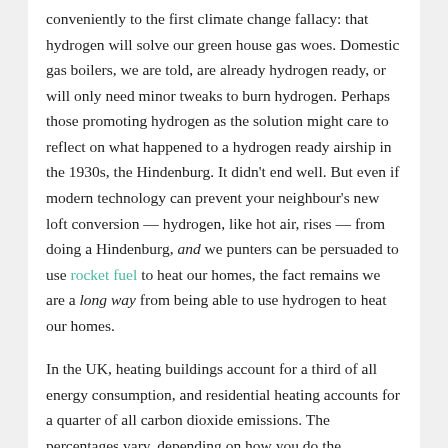conveniently to the first climate change fallacy: that hydrogen will solve our green house gas woes. Domestic gas boilers, we are told, are already hydrogen ready, or will only need minor tweaks to burn hydrogen. Perhaps those promoting hydrogen as the solution might care to reflect on what happened to a hydrogen ready airship in the 1930s, the Hindenburg. It didn't end well. But even if modern technology can prevent your neighbour's new loft conversion — hydrogen, like hot air, rises — from doing a Hindenburg, and we punters can be persuaded to use rocket fuel to heat our homes, the fact remains we are a long way from being able to use hydrogen to heat our homes.
In the UK, heating buildings account for a third of all energy consumption, and residential heating accounts for a quarter of all carbon dioxide emissions. The percentages vary, depending on how you do the accounting — for example, does residential heating include emissions from national grid non-green electricity generation — but these figures are